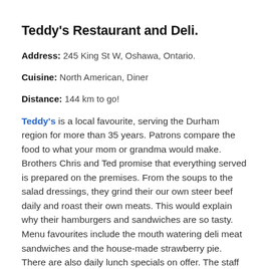Teddy's Restaurant and Deli.
Address: 245 King St W, Oshawa, Ontario.
Cuisine: North American, Diner
Distance: 144 km to go!
Teddy's is a local favourite, serving the Durham region for more than 35 years. Patrons compare the food to what your mom or grandma would make. Brothers Chris and Ted promise that everything served is prepared on the premises. From the soups to the salad dressings, they grind their our own steer beef daily and roast their own meats. This would explain why their hamburgers and sandwiches are so tasty. Menu favourites include the mouth watering deli meat sandwiches and the house-made strawberry pie. There are also daily lunch specials on offer. The staff is friendly and the store...